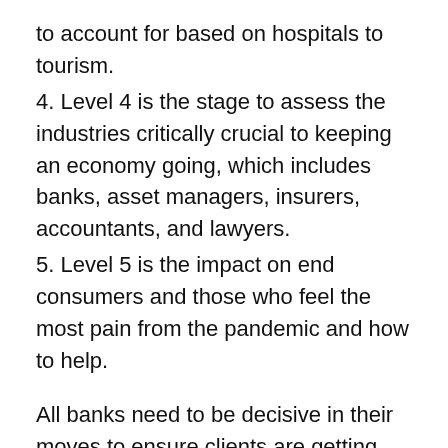to account for based on hospitals to tourism.
4. Level 4 is the stage to assess the industries critically crucial to keeping an economy going, which includes banks, asset managers, insurers, accountants, and lawyers.
5. Level 5 is the impact on end consumers and those who feel the most pain from the pandemic and how to help.
All banks need to be decisive in their moves to ensure clients are getting the best help in a situation they have no control over. Many things are going to go digital, where the US and globally, people are going to start using digital banking methods to pay for products. The idea of one